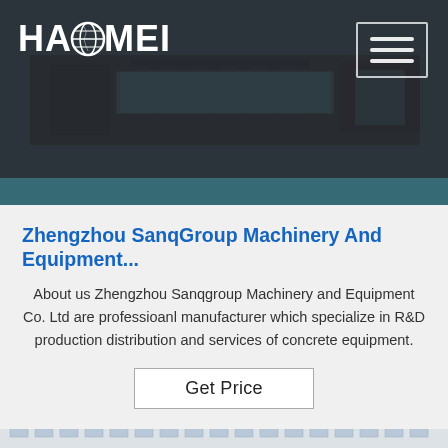[Figure (screenshot): HAOMEI company website header with dark navigation bar, company logo (HAOMEI with globe icon), hamburger menu button, and blue industrial machinery hero image]
Zhengzhou SanqGroup Machinery And Equipment...
About us Zhengzhou Sanqgroup Machinery and Equipment Co. Ltd are professioanl manufacturer which specialize in R&D production distribution and services of concrete equipment.
Get Price
[Figure (photo): Bottom portion showing exterior of industrial building with white facade and windows under a light sky]